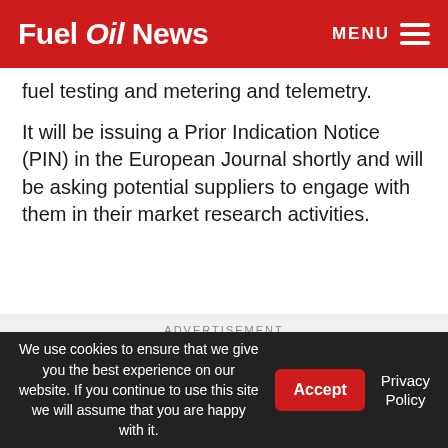Fuel Oil News — MENU
fuel testing and metering and telemetry.
It will be issuing a Prior Indication Notice (PIN) in the European Journal shortly and will be asking potential suppliers to engage with them in their market research activities.
[Figure (infographic): Advertisement banner for MABALIVE showing 'MABA' in dark green and 'LIVE' in white on a yellow-green background, with tagline 'Online deal administration']
We use cookies to ensure that we give you the best experience on our website. If you continue to use this site we will assume that you are happy with it.